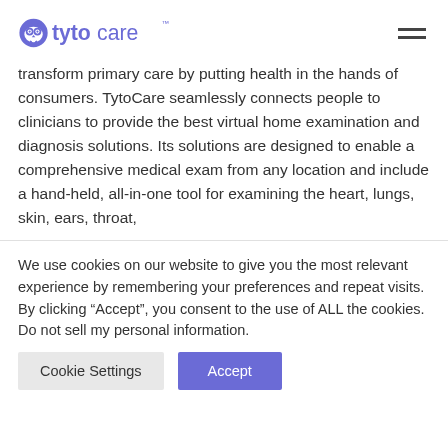TytoCare logo and navigation menu
transform primary care by putting health in the hands of consumers. TytoCare seamlessly connects people to clinicians to provide the best virtual home examination and diagnosis solutions. Its solutions are designed to enable a comprehensive medical exam from any location and include a hand-held, all-in-one tool for examining the heart, lungs, skin, ears, throat,
We use cookies on our website to give you the most relevant experience by remembering your preferences and repeat visits. By clicking “Accept”, you consent to the use of ALL the cookies.
Do not sell my personal information.